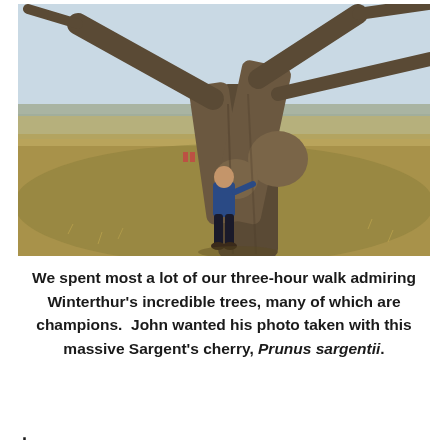[Figure (photo): A man in a blue jacket standing next to a massive, gnarled Sargent's cherry tree (Prunus sargentii) with large spreading branches. The setting is an open field with dry grass and bare trees in the background under a partly cloudy sky.]
We spent most a lot of our three-hour walk admiring Winterthur's incredible trees, many of which are champions.  John wanted his photo taken with this massive Sargent's cherry, Prunus sargentii.
.